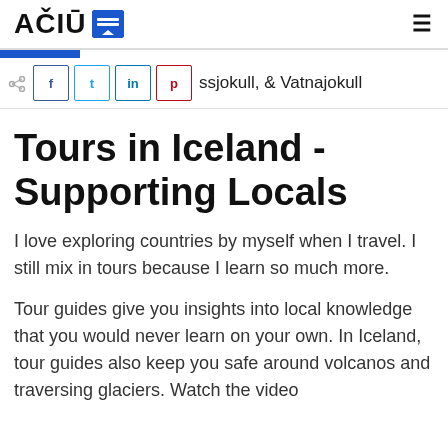AČIŪ [logo icon]
ssjokull, & Vatnajokull
Tours in Iceland - Supporting Locals
I love exploring countries by myself when I travel. I still mix in tours because I learn so much more.
Tour guides give you insights into local knowledge that you would never learn on your own. In Iceland, tour guides also keep you safe around volcanos and traversing glaciers. Watch the video